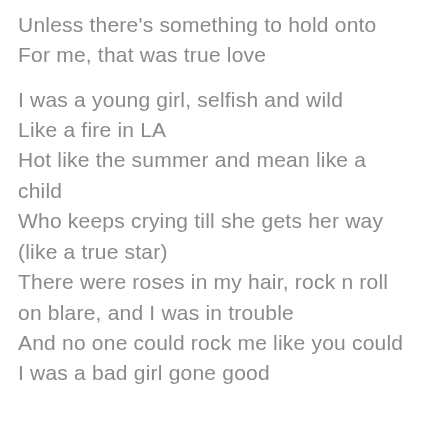Unless there's something to hold onto
For me, that was true love

I was a young girl, selfish and wild
Like a fire in LA
Hot like the summer and mean like a child
Who keeps crying till she gets her way
(like a true star)
There were roses in my hair, rock n roll on blare, and I was in trouble
And no one could rock me like you could
I was a bad girl gone good